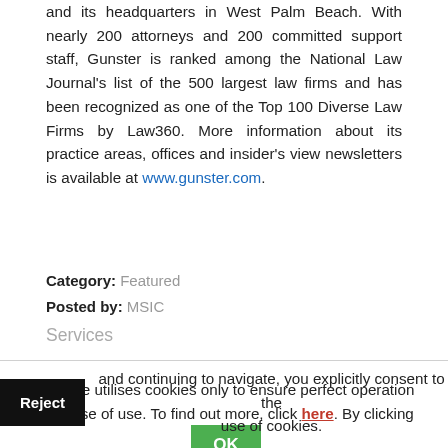and its headquarters in West Palm Beach. With nearly 200 attorneys and 200 committed support staff, Gunster is ranked among the National Law Journal's list of the 500 largest law firms and has been recognized as one of the Top 100 Diverse Law Firms by Law360. More information about its practice areas, offices and insider's view newsletters is available at www.gunster.com.
Category: Featured
Posted by: MSIC
Services
This site utilises cookies only to ensure perfect operation and ease of use. To find out more, click here. By clicking OK and continuing to navigate, you explicitly consent to the use of cookies.